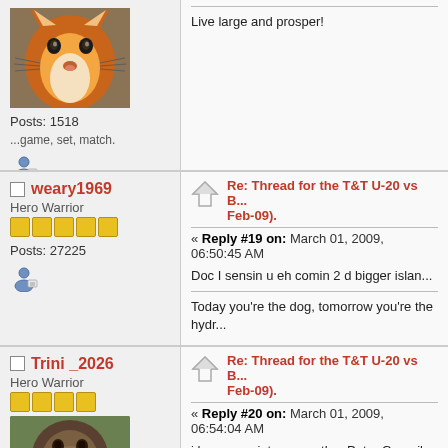[Figure (photo): Fox avatar image - orange and white fox face]
Posts: 1518
...game, set, match.
Live large and prosper!
weary1969 - Hero Warrior - Posts: 27225
Re: Thread for the T&T U-20 vs B... Feb-09). « Reply #19 on: March 01, 2009, 06:50:45 AM
Doc I sensin u eh comin 2 d bigger islan...
Today you're the dog, tomorrow you're the hydr...
Trini_2026 - Hero Warrior
Re: Thread for the T&T U-20 vs B... Feb-09). « Reply #20 on: March 01, 2009, 06:54:04 AM
i hope we aint see another Peter Granvil...